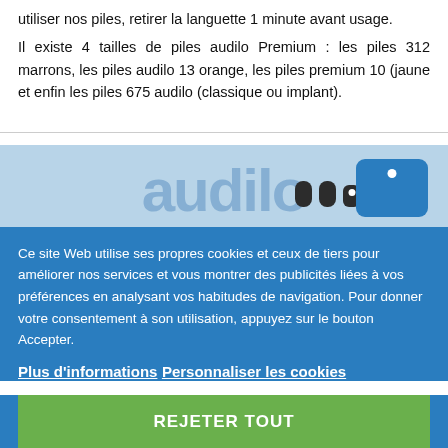utiliser nos piles, retirer la languette 1 minute avant usage.
Il existe 4 tailles de piles audilo Premium : les piles 312 marrons, les piles audilo 13 orange, les piles premium 10 (jaune et enfin les piles 675 audilo (classique ou implant).
[Figure (screenshot): Blue background section with audilo watermark text and small device icons (two dark oval shapes and a blue phone icon)]
Ce site Web utilise ses propres cookies et ceux de tiers pour améliorer nos services et vous montrer des publicités liées à vos préférences en analysant vos habitudes de navigation. Pour donner votre consentement à son utilisation, appuyez sur le bouton Accepter.
Plus d'informations   Personnaliser les cookies
REJETER TOUT
J'ACCEPTE